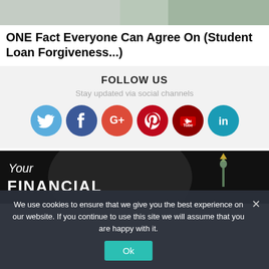[Figure (photo): Top portion of a photo showing a person, partially cropped]
ONE Fact Everyone Can Agree On (Student Loan Forgiveness...)
FOLLOW US
Stay updated via social channels
[Figure (infographic): Row of 6 social media icons: Twitter (blue), Facebook (dark blue), Google+ (red-orange), Pinterest (red), YouTube (dark red), LinkedIn (teal)]
[Figure (photo): Promotional banner with black background showing 'Your FINANCIAL' text in white and a Statue of Liberty image on the right]
We use cookies to ensure that we give you the best experience on our website. If you continue to use this site we will assume that you are happy with it.